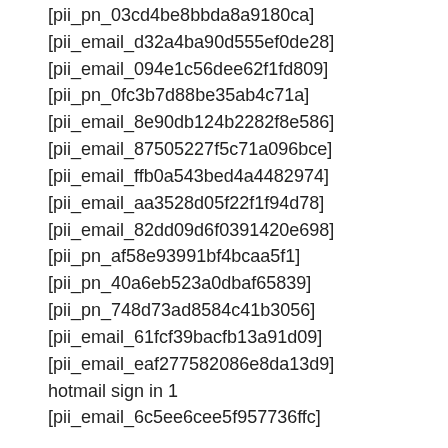[pii_pn_03cd4be8bbda8a9180ca]
[pii_email_d32a4ba90d555ef0de28]
[pii_email_094e1c56dee62f1fd809]
[pii_pn_0fc3b7d88be35ab4c71a]
[pii_email_8e90db124b2282f8e586]
[pii_email_87505227f5c71a096bce]
[pii_email_ffb0a543bed4a4482974]
[pii_email_aa3528d05f22f1f94d78]
[pii_email_82dd09d6f0391420e698]
[pii_pn_af58e93991bf4bcaa5f1]
[pii_pn_40a6eb523a0dbaf65839]
[pii_pn_748d73ad8584c41b3056]
[pii_email_61fcf39bacfb13a91d09]
[pii_email_eaf277582086e8da13d9]
hotmail sign in 1
[pii_email_6c5ee6cee5f957736ffc]